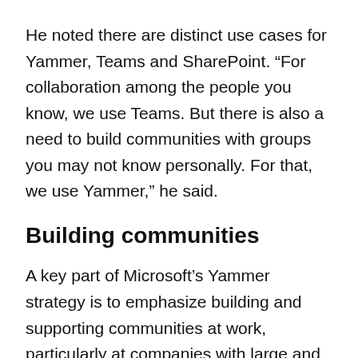He noted there are distinct use cases for Yammer, Teams and SharePoint. “For collaboration among the people you know, we use Teams. But there is also a need to build communities with groups you may not know personally. For that, we use Yammer,” he said.
Building communities
A key part of Microsoft’s Yammer strategy is to emphasize building and supporting communities at work, particularly at companies with large and disparate workforces. Communities can center around anything from business units to location to shared interests.